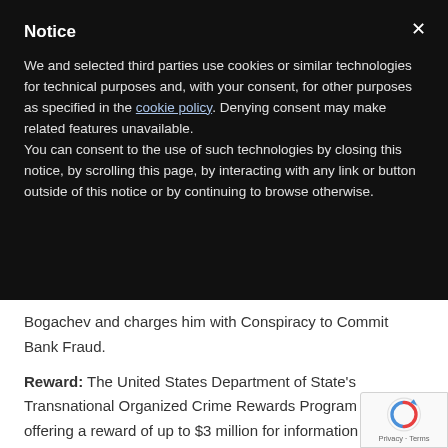Notice
We and selected third parties use cookies or similar technologies for technical purposes and, with your consent, for other purposes as specified in the cookie policy. Denying consent may make related features unavailable.
You can consent to the use of such technologies by closing this notice, by scrolling this page, by interacting with any link or button outside of this notice or by continuing to browse otherwise.
Bogachev and charges him with Conspiracy to Commit Bank Fraud.
Reward: The United States Department of State's Transnational Organized Crime Rewards Program is offering a reward of up to $3 million for information leading to the arrest and/or conviction of Evgeniy Mikhailovich Bogachev.